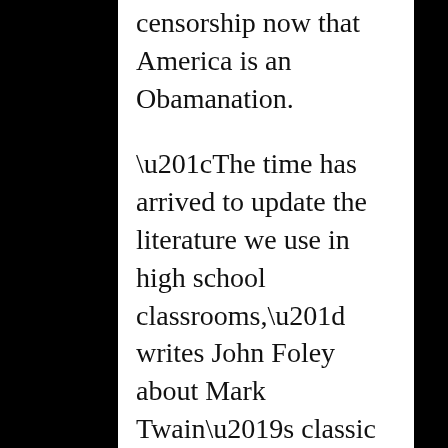censorship now that America is an Obamanation.
“The time has arrived to update the literature we use in high school classrooms,” writes John Foley about Mark Twain’s classic novel, Huckleberry Finn. “Barack Obama is president-elect of the